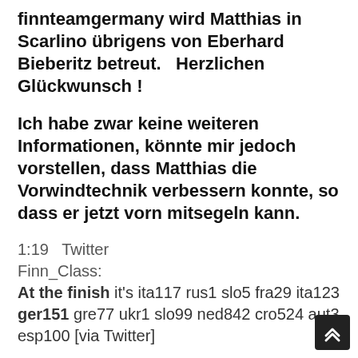finnteamgermany wird Matthias in Scarlino übrigens von Eberhard Bieberitz betreut.   Herzlichen Glückwunsch !
Ich habe zwar keine weiteren Informationen, könnte mir jedoch vorstellen, dass Matthias die Vorwindtechnik verbessern konnte, so dass er jetzt vorn mitsegeln kann.
1:19   Twitter
Finn_Class:
At the finish it's ita117 rus1 slo5 fra29 ita123 ger151 gre77 ukr1 slo99 ned842 cro524 aut3 esp100 [via Twitter]